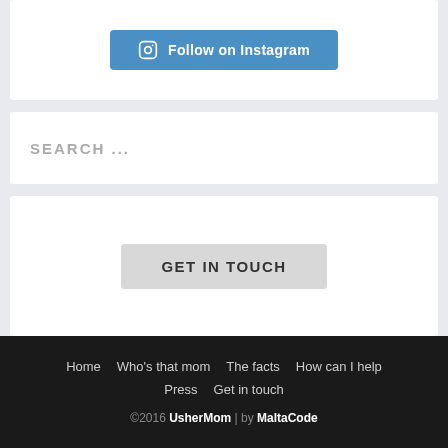[Figure (other): Blue button with Instagram camera icon and text 'Follow on Instagram']
SEARCH ...
GET IN TOUCH
Home  Who's that mom  The facts  How can I help  Press  Get in touch
©2016 UsherMom | by MaltaCode